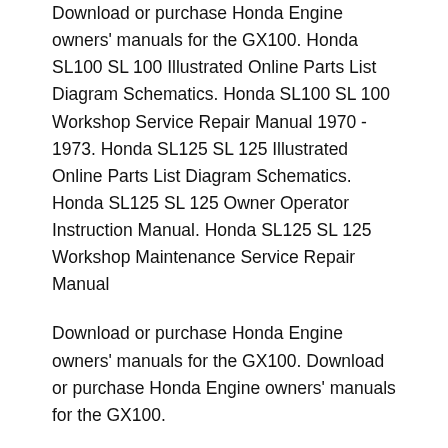Download or purchase Honda Engine owners' manuals for the GX100. Honda SL100 SL 100 Illustrated Online Parts List Diagram Schematics. Honda SL100 SL 100 Workshop Service Repair Manual 1970 - 1973. Honda SL125 SL 125 Illustrated Online Parts List Diagram Schematics. Honda SL125 SL 125 Owner Operator Instruction Manual. Honda SL125 SL 125 Workshop Maintenance Service Repair Manual
Download or purchase Honda Engine owners' manuals for the GX100. Download or purchase Honda Engine owners' manuals for the GX100.
Honda SL100 SL 100 Illustrated Online Parts List Diagram Schematics. Honda SL100 SL 100 Workshop Service Repair Manual 1970 - 1973.